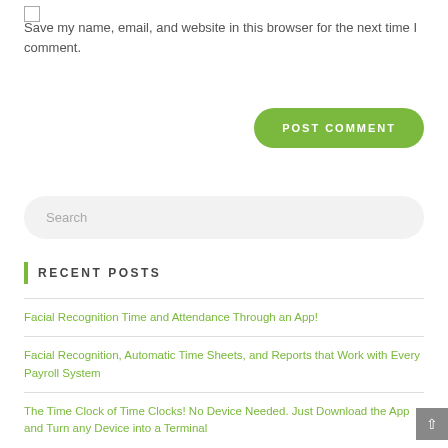Save my name, email, and website in this browser for the next time I comment.
POST COMMENT
Search
RECENT POSTS
Facial Recognition Time and Attendance Through an App!
Facial Recognition, Automatic Time Sheets, and Reports that Work with Every Payroll System
The Time Clock of Time Clocks! No Device Needed. Just Download the App and Turn any Device into a Terminal